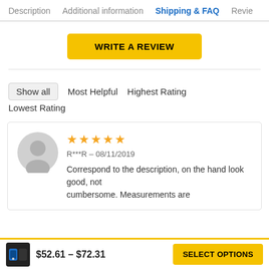Description  Additional information  Shipping & FAQ  Revie
WRITE A REVIEW
Show all   Most Helpful   Highest Rating   Lowest Rating
★★★★★  R***R – 08/11/2019  Correspond to the description, on the hand look good, not cumbersome. Measurements are
$52.61 – $72.31  SELECT OPTIONS